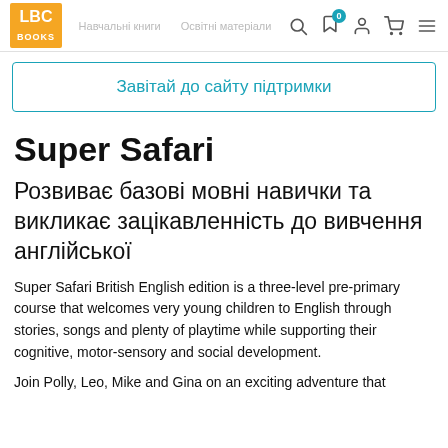LBC BOOKS navigation bar with logo, search, wishlist, account, cart, and menu icons
Завітай до сайту підтримки
Super Safari
Розвиває базові мовні навички та викликає зацікавленність до вивчення англійської
Super Safari British English edition is a three-level pre-primary course that welcomes very young children to English through stories, songs and plenty of playtime while supporting their cognitive, motor-sensory and social development.
Join Polly, Leo, Mike and Gina on an exciting adventure that